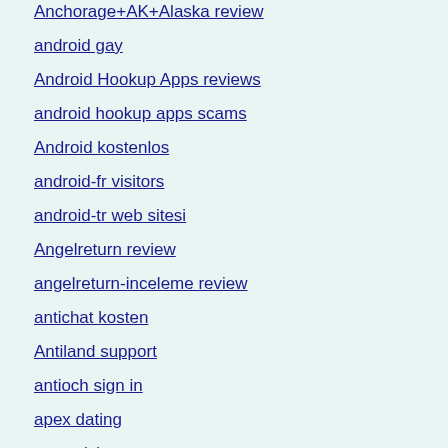Anchorage+AK+Alaska review
android gay
Android Hookup Apps reviews
android hookup apps scams
Android kostenlos
android-fr visitors
android-tr web sitesi
Angelreturn review
angelreturn-inceleme review
antichat kosten
Antiland support
antioch sign in
apex dating
apex visitors